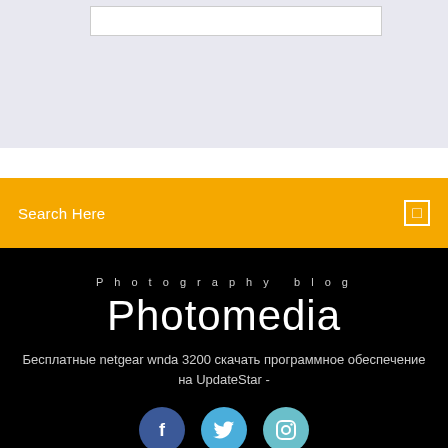[Figure (screenshot): Top section with light blue-grey background and a white input/text box]
Search Here
Photography blog
Photomedia
Бесплатные netgear wnda 3200 скачать программное обеспечение на UpdateStar -
[Figure (illustration): Three social media icon buttons: Facebook (blue), Twitter (light blue), Instagram (teal)]